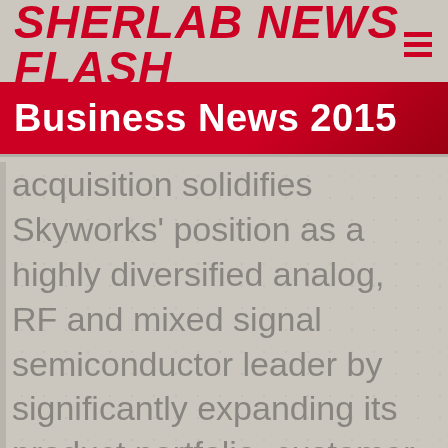Sherlab News Flash
Business News 2015
acquisition solidifies Skyworks' position as a highly diversified analog, RF and mixed signal semiconductor leader by significantly expanding its product portfolio, customer base and end market applications. Upon completion of the acquisition, Skyworks expects annual revenues